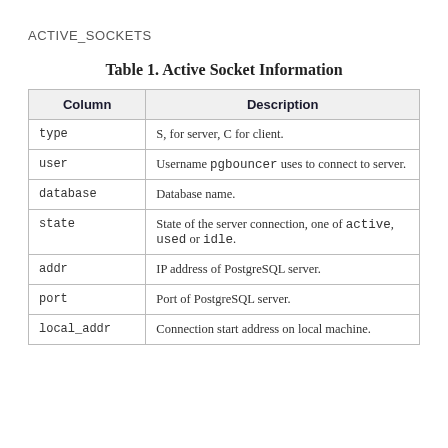ACTIVE_SOCKETS
Table 1. Active Socket Information
| Column | Description |
| --- | --- |
| type | S, for server, C for client. |
| user | Username pgbouncer uses to connect to server. |
| database | Database name. |
| state | State of the server connection, one of active, used or idle. |
| addr | IP address of PostgreSQL server. |
| port | Port of PostgreSQL server. |
| local_addr | Connection start address on local machine. |